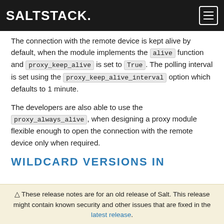SALTSTACK
The connection with the remote device is kept alive by default, when the module implements the alive function and proxy_keep_alive is set to True. The polling interval is set using the proxy_keep_alive_interval option which defaults to 1 minute.
The developers are also able to use the proxy_always_alive, when designing a proxy module flexible enough to open the connection with the remote device only when required.
WILDCARD VERSIONS IN
⚠ These release notes are for an old release of Salt. This release might contain known security and other issues that are fixed in the latest release.